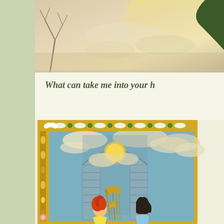[Figure (illustration): Top partial illustration: sandy/misty atmospheric scene with bare tree branches visible on the left and a dark green shape on the upper right, warm beige and tan tones suggesting an outdoor sky scene.]
What can take me into your h
[Figure (illustration): Bottom decorative illustration: an ornate tarot-card or stained-glass style bordered image in yellow and green with a castle/stone arch doorway. Inside shows a sun, clouds, wheat/grass, a golden star compass rose symbol, a red-haired girl in yellow dress, and a dark-haired girl in light blue, against a teal sky with clouds. The border has floral and geometric Celtic-like patterns in yellow and green.]